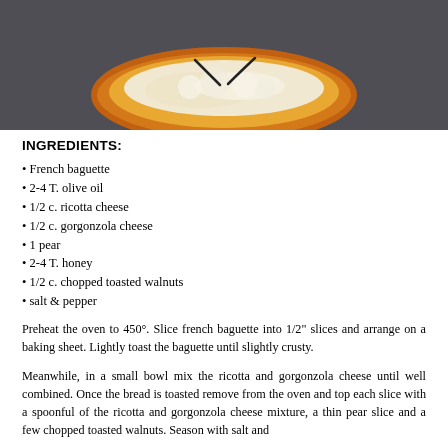[Figure (photo): Close-up photo of a toasted baguette slice topped with white cheese on a dark slate surface]
INGREDIENTS:
French baguette
2-4 T. olive oil
1/2 c. ricotta cheese
1/2 c. gorgonzola cheese
1 pear
2-4 T. honey
1/2 c. chopped toasted walnuts
salt & pepper
Preheat the oven to 450°. Slice french baguette into 1/2" slices and arrange on a baking sheet. Lightly toast the baguette until slightly crusty.
Meanwhile, in a small bowl mix the ricotta and gorgonzola cheese until well combined. Once the bread is toasted remove from the oven and top each slice with a spoonful of the ricotta and gorgonzola cheese mixture, a thin pear slice and a few chopped toasted walnuts. Season with salt and